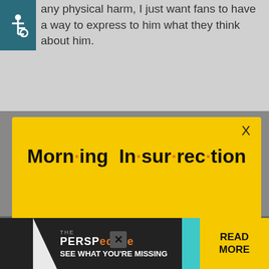any physical harm, I just want fans to have a way to express to him what they think about him.
[Figure (infographic): Yellow popup modal for Morning Insurrection newsletter subscription with orange JOIN NOW button]
richie reply to EBL | November 11, 2014 at 1:33
[Figure (infographic): The Perspective advertisement bar at bottom: SEE WHAT YOU'RE MISSING with READ MORE button]